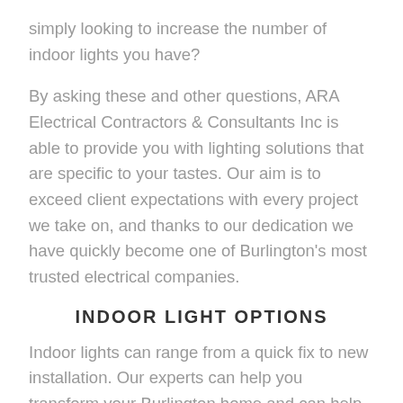simply looking to increase the number of indoor lights you have?
By asking these and other questions, ARA Electrical Contractors & Consultants Inc is able to provide you with lighting solutions that are specific to your tastes. Our aim is to exceed client expectations with every project we take on, and thanks to our dedication we have quickly become one of Burlington's most trusted electrical companies.
INDOOR LIGHT OPTIONS
Indoor lights can range from a quick fix to new installation. Our experts can help you transform your Burlington home and can help with numerous services including
General, interior and accent lights